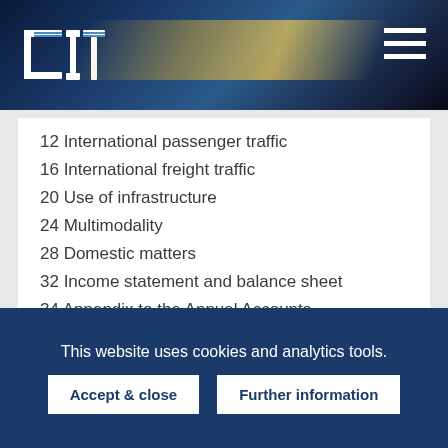[Figure (photo): CIT website header with dark blue night photo of a train with motion blur and yellow/orange light streak through trees. CIT logo in top-left, hamburger menu icon top-right.]
12 International passenger traffic
16 International freight traffic
20 Use of infrastructure
24 Multimodality
28 Domestic matters
32 Income statement and balance sheet
34 Appendix to the Annual Accounts
Annual Report 2020 [PDF]
History of the CIT
This website uses cookies and analytics tools.
Accept & close   Further information